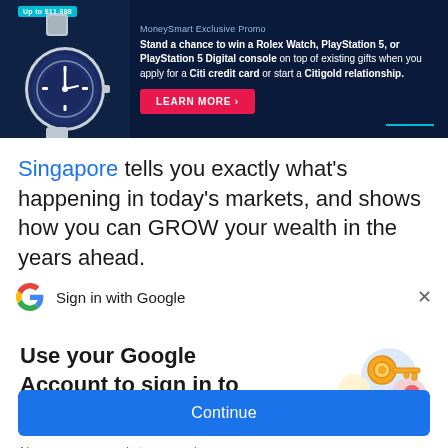[Figure (screenshot): MoneySmart advertisement banner on dark navy background featuring a Rolex watch image on the left, with text 'MoneySmart Exclusive Promo - Stand a chance to win a Rolex Watch, PlayStation 5, or PlayStation 5 Digital console on top of existing gifts when you apply for a Citi credit card or start a Citigold relationship.' and a pink 'LEARN MORE >' button.]
Singapore tells you exactly what's happening in today's markets, and shows how you can GROW your wealth in the years ahead.
Sign in with Google
Use your Google Account to sign in to MoneySmart
No more passwords to remember. Signing in is fast, simple and secure.
Continue